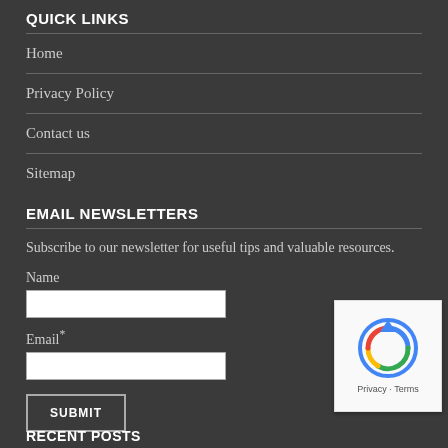QUICK LINKS
Home
Privacy Policy
Contact us
Sitemap
EMAIL NEWSLETTERS
Subscribe to our newsletter for useful tips and valuable resources.
Name
Email*
SUBMIT
RECENT POSTS